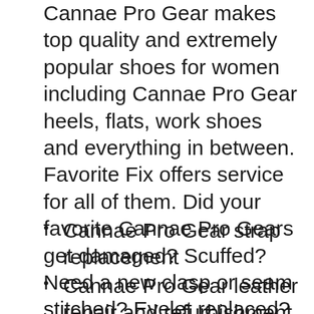Cannae Pro Gear makes top quality and extremely popular shoes for women including Cannae Pro Gear heels, flats, work shoes and everything in between. Favorite Fix offers service for all of them. Did your favorite Cannae Pro Gears get damaged? Scuffed? Need a new clasp or seam stitched? Eyelet replaced? Favorite Fix and get your Cannae Pro Gear looking and feeling like new in just a few days with our Cannae Pro Gear repair service. Our shoe services include anything you might need, but our most popular include:
Cannae Pro Gear strap replacement
Cannae Pro Gear leather repair and refurbishment
Eyelet, stitching and lace replacement